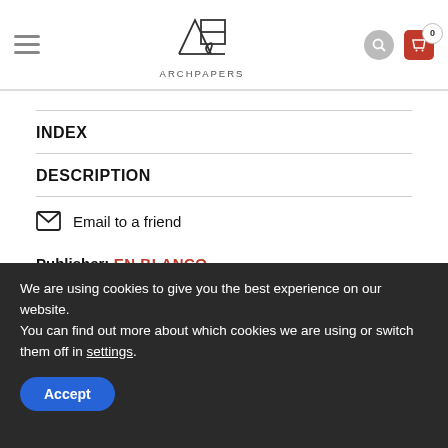ArchPAPERS
INDEX
DESCRIPTION
Email to a friend
Publisher: EN BLANCO
We are using cookies to give you the best experience on our website. You can find out more about which cookies we are using or switch them off in settings.